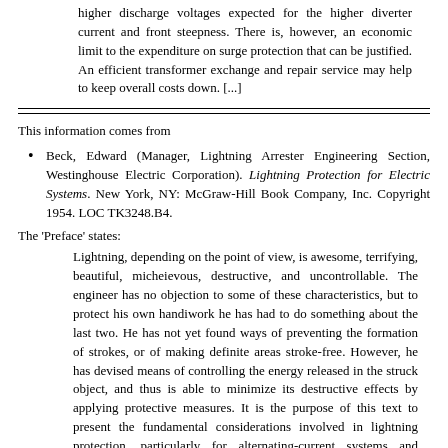higher discharge voltages expected for the higher diverter current and front steepness. There is, however, an economic limit to the expenditure on surge protection that can be justified. An efficient transformer exchange and repair service may help to keep overall costs down. [...]
This information comes from
Beck, Edward (Manager, Lightning Arrester Engineering Section, Westinghouse Electric Corporation). Lightning Protection for Electric Systems. New York, NY: McGraw-Hill Book Company, Inc. Copyright 1954. LOC TK3248.B4.
The 'Preface' states:
Lightning, depending on the point of view, is awesome, terrifying, beautiful, micheievous, destructive, and uncontrollable. The engineer has no objection to some of these characteristics, but to protect his own handiwork he has had to do something about the last two. He has not yet found ways of preventing the formation of strokes, or of making definite areas stroke-free. However, he has devised means of controlling the energy released in the struck object, and thus is able to minimize its destructive effects by applying protective measures. It is the purpose of this text to present the fundamental considerations involved in lightning protection, particularly for alternating-current systems and apparatus, and to describe the uses, functions, principles of operation, performance, and typical construction of lightning arresters. [...]
The following information is excerpted from this book: